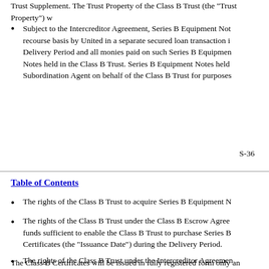Trust Supplement. The Trust Property of the Class B Trust (the "Trust Property") w
Subject to the Intercreditor Agreement, Series B Equipment Not recourse basis by United in a separate secured loan transaction i Delivery Period and all monies paid on such Series B Equipmen Notes held in the Class B Trust. Series B Equipment Notes held Subordination Agent on behalf of the Class B Trust for purposes
S-36
Table of Contents
The rights of the Class B Trust to acquire Series B Equipment N
The rights of the Class B Trust under the Class B Escrow Agree funds sufficient to enable the Class B Trust to purchase Series B Certificates (the "Issuance Date") during the Delivery Period.
The rights of the Class B Trust under the Intercreditor Agreemen
All monies receivable under the Liquidity Facility for the Class
Funds from time to time deposited with the Class B Trustee in a payments on the Series B Equipment Notes held in the Class B T
The Class B Certificates will be issued in fully registered form only an